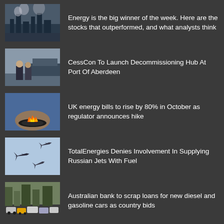Energy is the big winner of the week. Here are the stocks that outperformed, and what analysts think
CessCon To Launch Decommissioning Hub At Port Of Aberdeen
UK energy bills to rise by 80% in October as regulator announces hike
TotalEnergies Denies Involvement In Supplying Russian Jets With Fuel
Australian bank to scrap loans for new diesel and gasoline cars as country bids